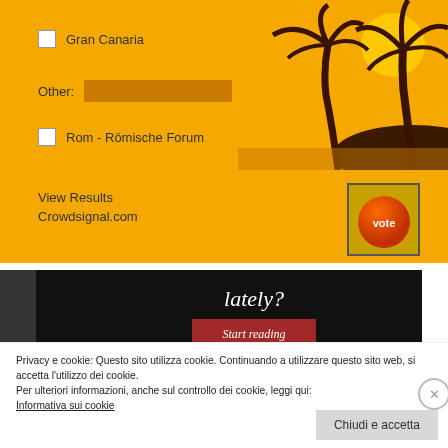[Figure (screenshot): Orange travel widget with palm tree illustration, checkboxes for Gran Canaria and Rom - Römische Forum, an Other text input, View Results and Crowdsignal.com links, and a Vote button]
[Figure (screenshot): Black banner with italic white text 'lately?' and a red 'Start reading' button]
Privacy e cookie: Questo sito utilizza cookie. Continuando a utilizzare questo sito web, si accetta l'utilizzo dei cookie.
Per ulteriori informazioni, anche sul controllo dei cookie, leggi qui:
Informativa sui cookie
Chiudi e accetta